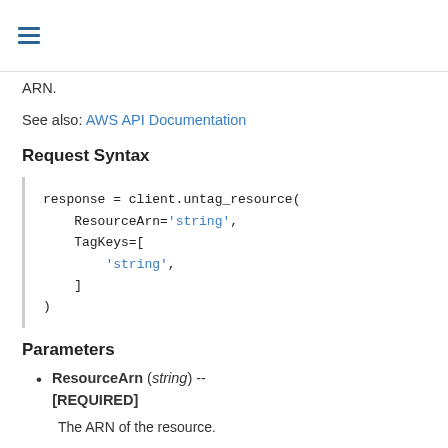ARN.
See also: AWS API Documentation
Request Syntax
Parameters
ResourceArn (string) -- [REQUIRED]
The ARN of the resource.
TagKeys (list) --